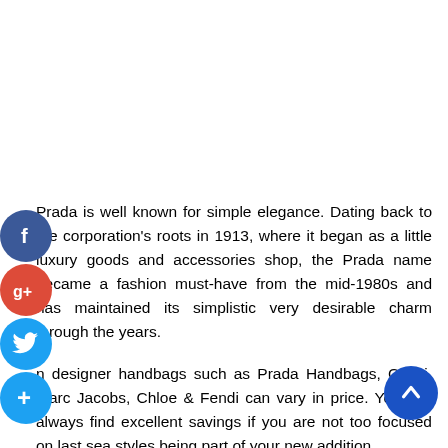[Figure (other): Social media icon buttons on left side: Facebook (blue circle with f), Google+ (red circle with g+), Twitter (blue circle with bird), and a blue add/plus circle button]
Prada is well known for simple elegance. Dating back to the corporation's roots in 1913, where it began as a little luxury goods and accessories shop, the Prada name became a fashion must-have from the mid-1980s and has maintained its simplistic very desirable charm through the years.
n designer handbags such as Prada Handbags, Gucci, Marc Jacobs, Chloe & Fendi can vary in price. You can always find excellent savings if you are not too focused on last sea styles being part of your new addition.
[Figure (other): Scroll-to-top button: dark blue circle with upward arrow, positioned at bottom right]